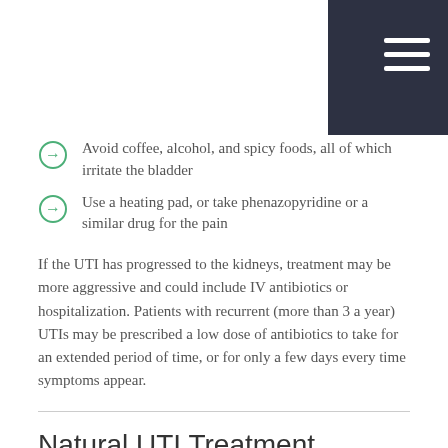Avoid coffee, alcohol, and spicy foods, all of which irritate the bladder
Use a heating pad, or take phenazopyridine or a similar drug for the pain
If the UTI has progressed to the kidneys, treatment may be more aggressive and could include IV antibiotics or hospitalization. Patients with recurrent (more than 3 a year) UTIs may be prescribed a low dose of antibiotics to take for an extended period of time, or for only a few days every time symptoms appear.
Natural UTI Treatment
One goal of natural urinary tract infection treatment is to restore the body's natural bacterial flora--especially in the vagina--after antibiotics have disrupted its balance. Some patients with UTIs